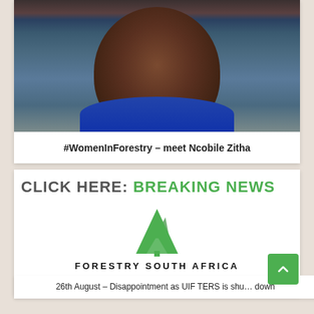[Figure (photo): Profile photo of a smiling woman (Ncobile Zitha) wearing blue, outdoors with industrial equipment visible in background]
#WomenInForestry – meet Ncobile Zitha
CLICK HERE: BREAKING NEWS
[Figure (logo): Forestry South Africa logo: green stylized tree above text FORESTRY SOUTH AFRICA]
Disappointment as UIF TERS is shut down
26th August – Disappointment as UIF TERS is shut down